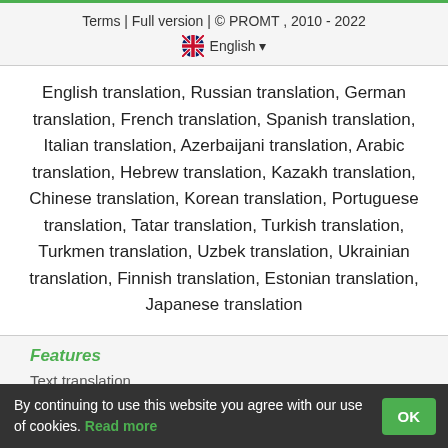Terms | Full version | © PROMT , 2010 - 2022
English ▾
English translation, Russian translation, German translation, French translation, Spanish translation, Italian translation, Azerbaijani translation, Arabic translation, Hebrew translation, Kazakh translation, Chinese translation, Korean translation, Portuguese translation, Tatar translation, Turkish translation, Turkmen translation, Uzbek translation, Ukrainian translation, Finnish translation, Estonian translation, Japanese translation
Features
Text translation
Context Examples
Conjugation and Declension
By continuing to use this website you agree with our use of cookies. Read more